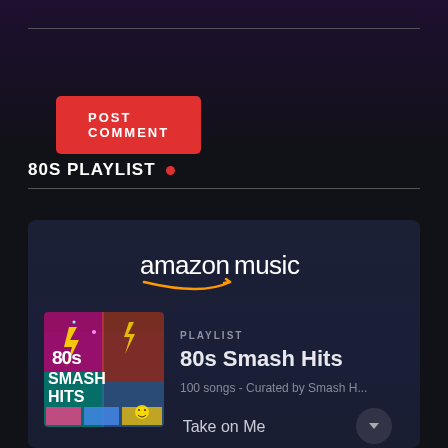POST COMMENT
80S PLAYLIST
[Figure (screenshot): Amazon Music embedded playlist widget showing '80s Smash Hits' playlist. The widget has a dark navy background with the Amazon Music logo at the top (white 'amazon music' text with the characteristic orange swoosh/arrow). Below the logo is a playlist entry showing colorful album art for '80s Smash Hits' on the left, and on the right: 'PLAYLIST' label, '80s Smash Hits' title, '100 songs - Curated by Smash H...' subtitle. At the bottom shows 'Take on Me' song title.]